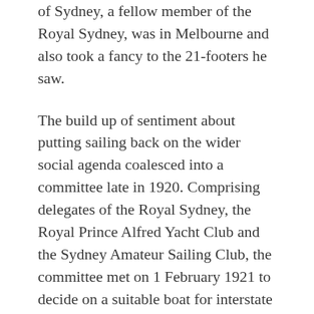of Sydney, a fellow member of the Royal Sydney, was in Melbourne and also took a fancy to the 21-footers he saw.
The build up of sentiment about putting sailing back on the wider social agenda coalesced into a committee late in 1920. Comprising delegates of the Royal Sydney, the Royal Prince Alfred Yacht Club and the Sydney Amateur Sailing Club, the committee met on 1 February 1921 to decide on a suitable boat for interstate racing. The unanimous decision was that the yacht must be inexpensive and suitable for pleasure as well as for racing.
One design put up for consideration was the American Star Class, but the committee found that these boats were too expensive. They were also deemed unsuitable in that they were strictly racing boats, and having a bulb keel were more difficult to slip. The committee seems to have quickly came around to agreeing that the 21 foot Restricted class was suitable in every way.